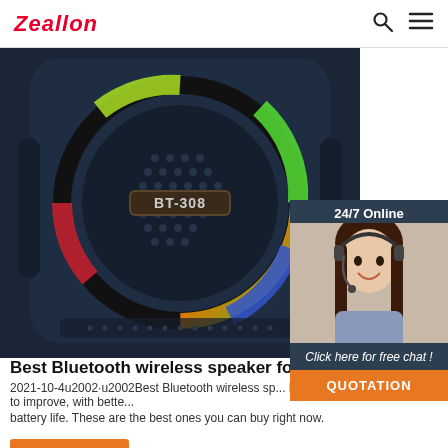Zeallon
[Figure (photo): Bluetooth speaker BT-308 with colorful LED ring light, dark blue/black casing]
[Figure (photo): 24/7 Online chat widget with customer service agent wearing headset, and QUOTATION button]
Best Bluetooth wireless speaker for 2021 - C
2021-10-4u2002·u2002Best Bluetooth wireless sp... Portable speakers continue to improve, with bette... battery life. These are the best ones you can buy right now.
Get Price